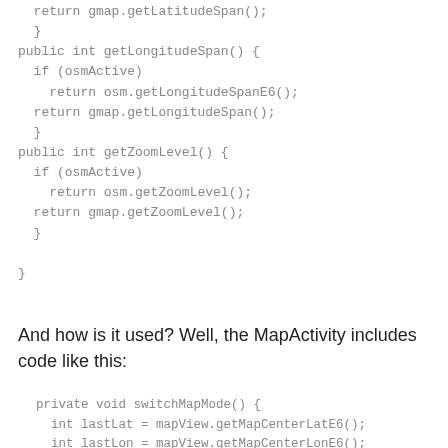return gmap.getLatitudeSpan();
  }
public int getLongitudeSpan() {
  if (osmActive)
    return osm.getLongitudeSpanE6();
  return gmap.getLongitudeSpan();
  }
public int getZoomLevel() {
  if (osmActive)
    return osm.getZoomLevel();
  return gmap.getZoomLevel();
  }

}
And how is it used? Well, the MapActivity includes code like this:
private void switchMapMode() {
      int lastLat = mapView.getMapCenterLatE6();
      int lastLon = mapView.getMapCenterLonE6();
      int lastLatSpan = mapView.getLatitudeSpan();
      int lastLonSpan = mapView.getLatitudeSpan();
      boolean willHandleCenterZoom = lastLat!=0 && lastLo